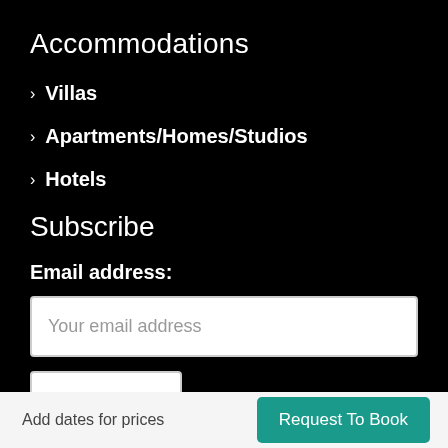Accommodations
> Villas
> Apartments/Homes/Studios
> Hotels
Subscribe
Email address:
Your email address
Sign up
Add dates for prices   Request To Book